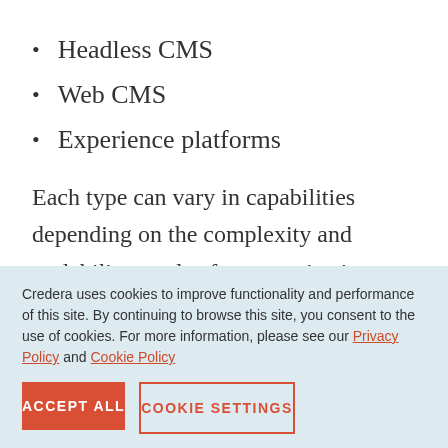Headless CMS
Web CMS
Experience platforms
Each type can vary in capabilities depending on the complexity and scalability needs of an organization. Additionally, a CMS or CEM solution may need to be augmented with a digital asset management
Credera uses cookies to improve functionality and performance of this site. By continuing to browse this site, you consent to the use of cookies. For more information, please see our Privacy Policy and Cookie Policy
ACCEPT ALL
COOKIE SETTINGS